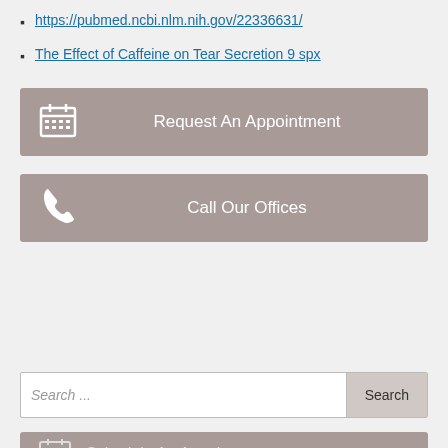https://pubmed.ncbi.nlm.nih.gov/22336631/
The Effect of Caffeine on Tear Secretion 9 spx
[Figure (infographic): Gray button bar with calendar icon and text 'Request An Appointment']
[Figure (infographic): Gray button bar with phone icon and text 'Call Our Offices']
[Figure (screenshot): Search bar with placeholder 'Search ...' and Search button]
[Figure (infographic): Gray bar with calendar-check icon and text 'Schedule An Appointment' partially visible]